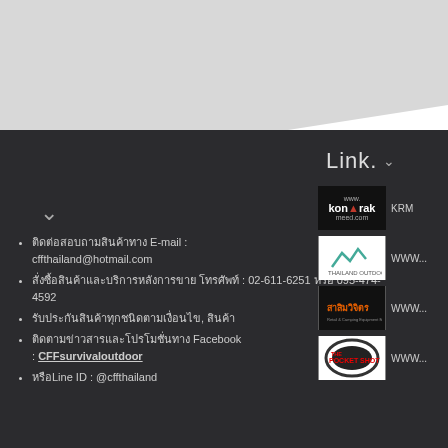[Figure (screenshot): Gray diagonal background area at top of page]
Link. ▾
ติดต่อสอบถามสินค้าทาง E-mail : cffthailand@hotmail.com
สั่งซื้อสินค้าและบริการหลังการขาย โทรศัพท์ : 02-611-6251 หรือ 095-474-4592
รับประกันสินค้าทุกชนิดตามเงื่อนไข, สินค้า
ติดตามข่าวสารและโปรโมชั่นทาง Facebook : CFFsurvivaloutdoor
หรือLine  ID : @cffthailand